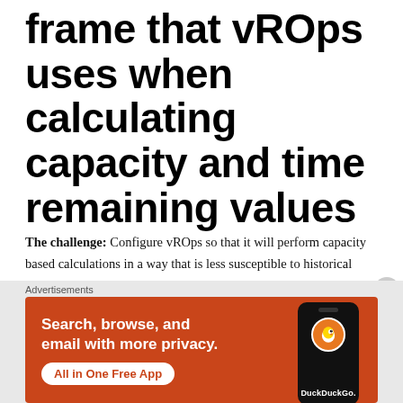frame that vROps uses when calculating capacity and time remaining values
The challenge: Configure vROps so that it will perform capacity based calculations in a way that is less susceptible to historical events.
By default, vROps will use all available data when calculating the amount of capacity and time remaining for an object. In certain situations and scenarios it may be preferable to only
Advertisements
[Figure (infographic): DuckDuckGo advertisement banner: orange background with text 'Search, browse, and email with more privacy. All in One Free App' and an image of a smartphone showing the DuckDuckGo logo.]